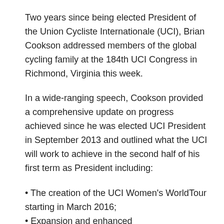Two years since being elected President of the Union Cycliste Internationale (UCI), Brian Cookson addressed members of the global cycling family at the 184th UCI Congress in Richmond, Virginia this week.
In a wide-ranging speech, Cookson provided a comprehensive update on progress achieved since he was elected UCI President in September 2013 and outlined what the UCI will work to achieve in the second half of his first term as President including:
The creation of the UCI Women's WorldTour starting in March 2016;
Expansion and enhanced professionalisation of men's professional road cycling to continue progress in restoring credibility and globalisation;
Continued innovation including integrating BMX Freestyle Park into the UCI calendar and creating the UCI Urban Cycling World Championships starting in 2017;